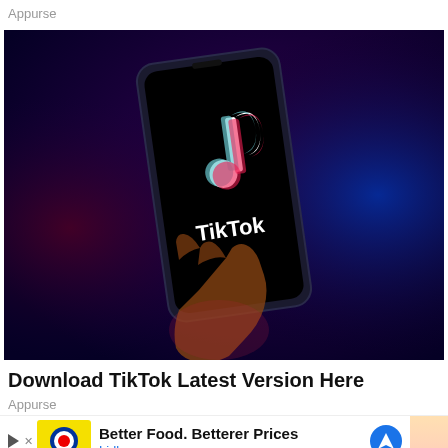Appurse
[Figure (photo): A hand holding a smartphone displaying the TikTok app logo and name on a dark purple/blue background. The TikTok logo is the musical note icon in white with cyan and pink accents, and the word 'TikTok' is shown in white beneath it.]
Download TikTok Latest Version Here
Appurse
[Figure (other): Advertisement banner: Lidl logo with yellow background, text 'Better Food. Betterer Prices' and 'Lidl', with a blue navigation/directions icon on the right.]